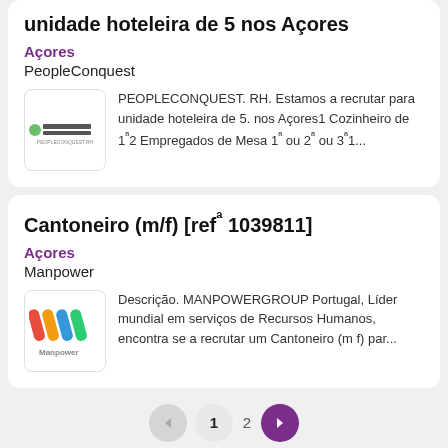unidade hoteleira de 5 nos Açores
Açores
PeopleConquest
PEOPLECONQUEST. RH. Estamos a recrutar para unidade hoteleira de 5. nos Açores1 Cozinheiro de 1ª2 Empregados de Mesa 1ª ou 2ª ou 3ª1...
Cantoneiro (m/f) [refª 1039811]
Açores
Manpower
Descrição. MANPOWERGROUP Portugal, Líder mundial em serviços de Recursos Humanos, encontra se a recrutar um Cantoneiro (m f) par...
◀  1  2  ▶